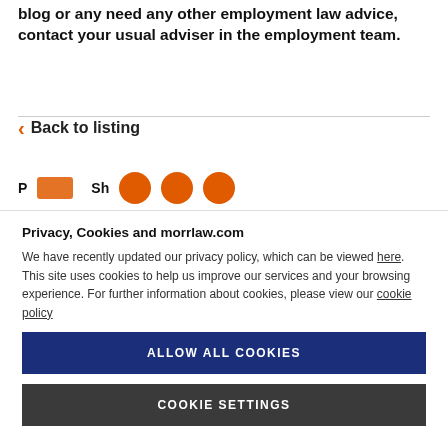blog or any need any other employment law advice, contact your usual adviser in the employment team.
< Back to listing
[Figure (other): Toolbar with print icon (orange rectangle) and share icons (three orange circles), partially cropped]
Privacy, Cookies and morrlaw.com
We have recently updated our privacy policy, which can be viewed here. This site uses cookies to help us improve our services and your browsing experience. For further information about cookies, please view our cookie policy
ALLOW ALL COOKIES
COOKIE SETTINGS